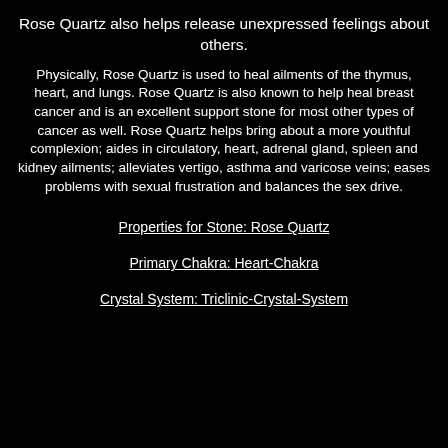Rose Quartz also helps release unexpressed feelings about others.
Physically, Rose Quartz is used to heal ailments of the thymus, heart, and lungs. Rose Quartz is also known to help heal breast cancer and is an excellent support stone for most other types of cancer as well. Rose Quartz helps bring about a more youthful complexion; aides in circulatory, heart, adrenal gland, spleen and kidney ailments; alleviates vertigo, asthma and varicose veins; eases problems with sexual frustration and balances the sex drive.
Properties for Stone: Rose Quartz
Primary Chakra: Heart-Chakra
Crystal System: Triclinic-Crystal-System